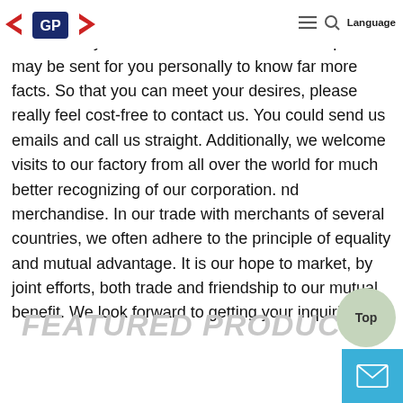[Logo: GP brand mark] [Hamburger menu] [Search icon] Language
We've got a professional engineering team to serve for the every s ailed needs. Free samples may be sent for you personally to know far more facts. So that you can meet your desires, please really feel cost-free to contact us. You could send us emails and call us straight. Additionally, we welcome visits to our factory from all over the world for much better recognizing of our corporation. nd merchandise. In our trade with merchants of several countries, we often adhere to the principle of equality and mutual advantage. It is our hope to market, by joint efforts, both trade and friendship to our mutual benefit. We look forward to getting your inquiries.
FEATURED PRODUCTS